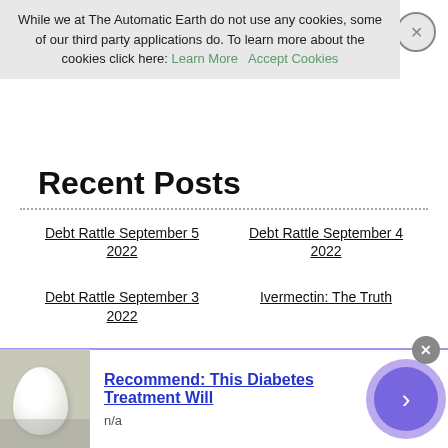While we at The Automatic Earth do not use any cookies, some of our third party applications do. To learn more about the cookies click here: Learn More   Accept Cookies
Recent Posts
Debt Rattle September 5 2022
Debt Rattle September 4 2022
Debt Rattle September 3 2022
Ivermectin: The Truth
Debt Rattle September 2 2022
Debt Rattle September 1 2022
Debt Rattle August 31 2022
Debt Rattle August 30 2022
Recommend: This Diabetes Treatment Will
n/a